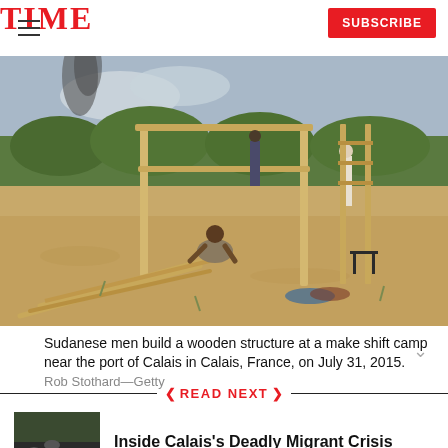TIME  SUBSCRIBE
[Figure (photo): Sudanese men building a wooden structure at a makeshift camp near the port of Calais, France. Sandy ground, wooden beams, green bushes, smoke in background.]
Sudanese men build a wooden structure at a make shift camp near the port of Calais in Calais, France, on July 31, 2015.  Rob Stothard—Getty
READ NEXT
[Figure (photo): Thumbnail image of Calais migrant crisis article showing crowd scene]
Inside Calais's Deadly Migrant Crisis